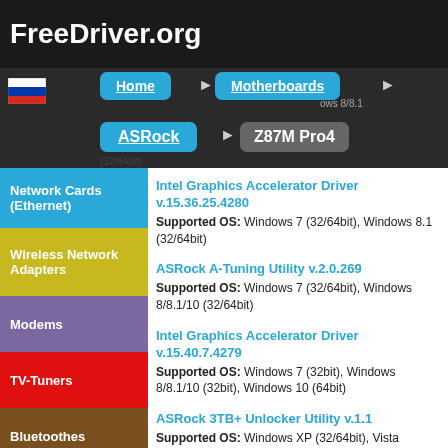FreeDriver.org
[Figure (screenshot): Navigation bar with Home and Motherboards buttons, Russian flag icon, ASRock and Z87M Pro4 breadcrumb labels]
Network Cards (Ethernet)
Wireless Network Adapters
Modems
TV-Tuners
Bluetoothes
Uninterruptible
Intel Graphics Accelerator Driver v.15.36.25.4280
Supported OS: Windows 7 (32/64bit), Windows 8.1 (32/64bit)
ASRock A-Tuning Utility v.2.0.269
Supported OS: Windows 7 (32/64bit), Windows 8/8.1/10 (32/64bit)
Intel Graphics Accelerator Driver v.15.40.7.4279
Supported OS: Windows 7 (32bit), Windows 8/8.1/10 (32bit), Windows 10 (64bit)
ASRock 3TB+ Unlocker Utility v.1.1
Supported OS: Windows XP (32/64bit), Vista